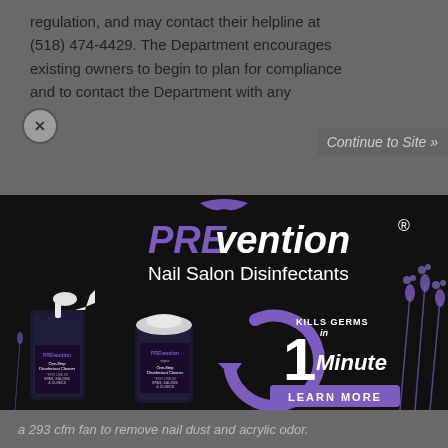regulation, and may contact their helpline at (518) 474-4429. The Department encourages existing owners to begin to plan for compliance and to contact the Department with any
Continue to Site »
[Figure (advertisement): PREvention Nail Salon Disinfectants advertisement on black background. Shows spray bottle and wipes container products with purple lavender floral design. Text reads: PREvention Nail Salon Disinfectants, KILLS GERMS in 1 Minute, LEARN MORE button. Products labeled One-Step Disinfectant Cleaner for use in Spas, Salons & Clinics.]
a 293 cfm fan to remove nail dust and acrylic odor.